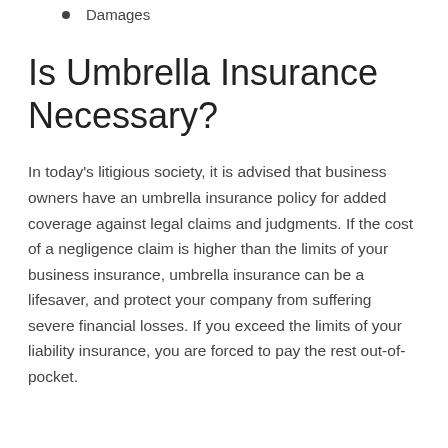Damages
Is Umbrella Insurance Necessary?
In today's litigious society, it is advised that business owners have an umbrella insurance policy for added coverage against legal claims and judgments. If the cost of a negligence claim is higher than the limits of your business insurance, umbrella insurance can be a lifesaver, and protect your company from suffering severe financial losses. If you exceed the limits of your liability insurance, you are forced to pay the rest out-of-pocket.